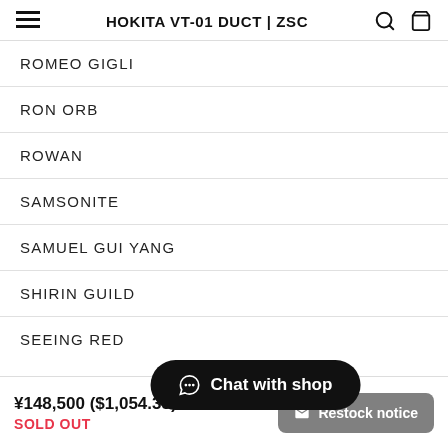HOKITA VT-01 DUCT | ZSC
ROMEO GIGLI
RON ORB
ROWAN
SAMSONITE
SAMUEL GUI YANG
SHIRIN GUILD
SEEING RED
Chat with shop
¥148,500 ($1,054.35) tax included
SOLD OUT
Restock notice